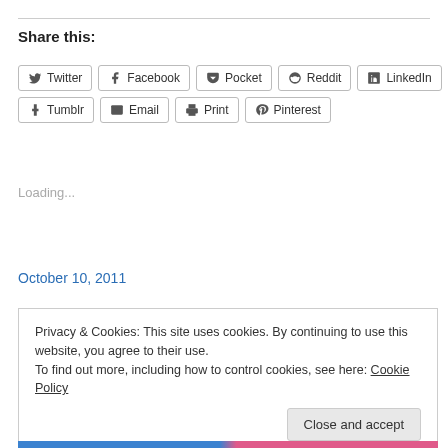Share this:
Twitter | Facebook | Pocket | Reddit | LinkedIn
Tumblr | Email | Print | Pinterest
Loading...
October 10, 2011
Privacy & Cookies: This site uses cookies. By continuing to use this website, you agree to their use.
To find out more, including how to control cookies, see here: Cookie Policy
Close and accept